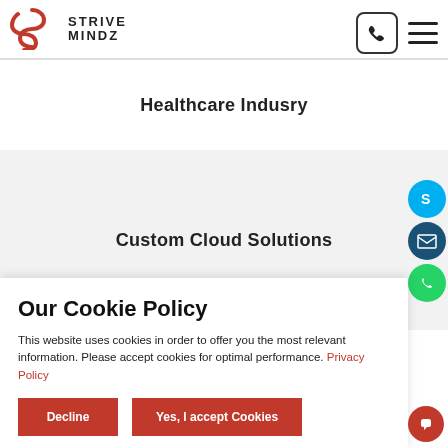[Figure (logo): Strive Mindz logo with red S-shaped icon and company name]
Healthcare Indusry
Custom Cloud Solutions
Our Cookie Policy
This website uses cookies in order to offer you the most relevant information. Please accept cookies for optimal performance. Privacy Policy
Decline
Yes, I accept Cookies